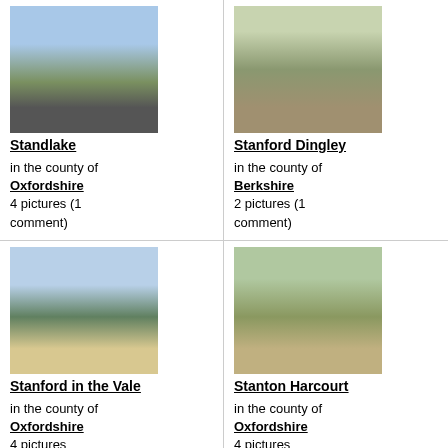[Figure (photo): Street view of Standlake village with road and buildings]
Standlake
in the county of Oxfordshire
4 pictures (1 comment)
[Figure (photo): Church building at Stanford Dingley with bare trees]
Stanford Dingley
in the county of Berkshire
2 pictures (1 comment)
[Figure (photo): Rural village green at Stanford in the Vale with white cottage]
Stanford in the Vale
in the county of Oxfordshire
4 pictures
[Figure (photo): Stone manor house at Stanton Harcourt surrounded by trees]
Stanton Harcourt
in the county of Oxfordshire
4 pictures
[Figure (photo): Partial photo strip at bottom left]
[Figure (photo): Partial photo strip at bottom right]